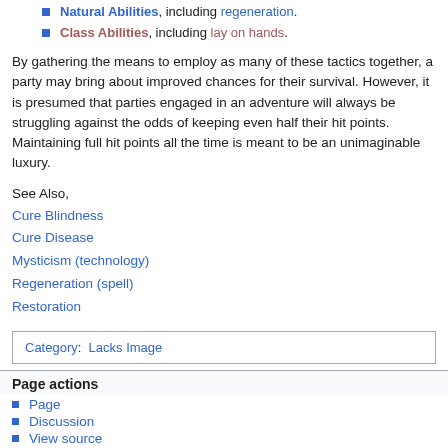Natural Abilities, including regeneration.
Class Abilities, including lay on hands.
By gathering the means to employ as many of these tactics together, a party may bring about improved chances for their survival. However, it is presumed that parties engaged in an adventure will always be struggling against the odds of keeping even half their hit points. Maintaining full hit points all the time is meant to be an unimaginable luxury.
See Also,
Cure Blindness
Cure Disease
Mysticism (technology)
Regeneration (spell)
Restoration
| Category:  Lacks Image |
Page actions
Page
Discussion
View source
History